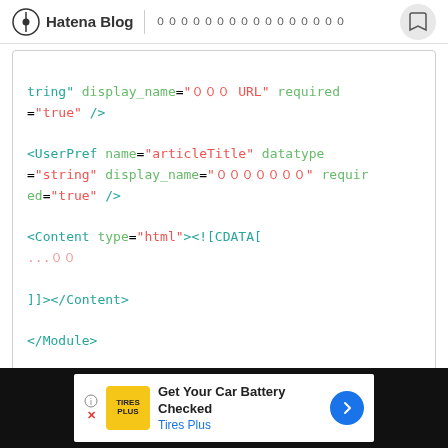Hatena Blog | ００００００００００００００００
[Figure (screenshot): Code block showing XML snippet with UserPref and Content tags in syntax-highlighted monospace font]
UserPref での HTML の書き方
[Figure (screenshot): Advertisement banner for Tires Plus - Get Your Car Battery Checked]